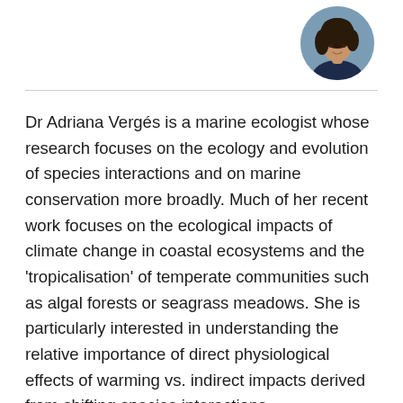[Figure (photo): Circular portrait photo of Dr Adriana Vergés, a woman with curly dark hair, positioned in the top right corner of the page.]
Dr Adriana Vergés is a marine ecologist whose research focuses on the ecology and evolution of species interactions and on marine conservation more broadly. Much of her recent work focuses on the ecological impacts of climate change in coastal ecosystems and the 'tropicalisation' of temperate communities such as algal forests or seagrass meadows. She is particularly interested in understanding the relative importance of direct physiological effects of warming vs. indirect impacts derived from shifting species interactions.